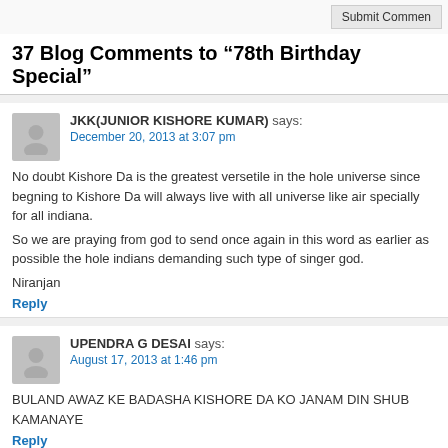Submit Comment
37 Blog Comments to “78th Birthday Special”
JKK(JUNIOR KISHORE KUMAR) says:
December 20, 2013 at 3:07 pm

No doubt Kishore Da is the greatest versetile in the hole universe since begning to Kishore Da will always live with all universe like air specially for all indiana.

So we are praying from god to send once again in this word as earlier as possible the hole indians demanding such type of singer god.

Niranjan

Reply
UPENDRA G DESAI says:
August 17, 2013 at 1:46 pm

BULAND AWAZ KE BADASHA KISHORE DA KO JANAM DIN SHUB KAMANAYE

Reply
Anirban Kar says: